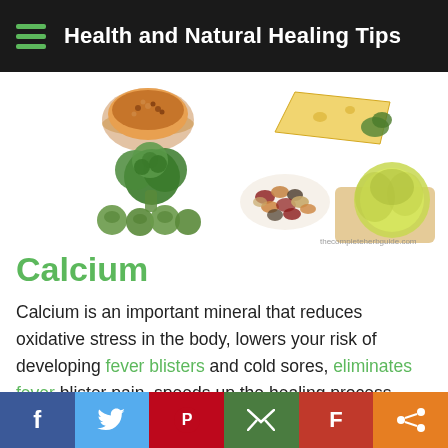Health and Natural Healing Tips
[Figure (photo): Assorted calcium-rich foods: bowl of lentils/soup, broccoli, brussels sprouts, mixed beans/legumes, cheese wedge, cabbage/lettuce head on cutting board. Watermark: thecompleteherbguide.com]
Calcium
Calcium is an important mineral that reduces oxidative stress in the body, lowers your risk of developing fever blisters and cold sores, eliminates fever blister pain, speeds up the healing process, minimizes herpes outbreaks and strengthens your immune system, according to Michael Zimmermann